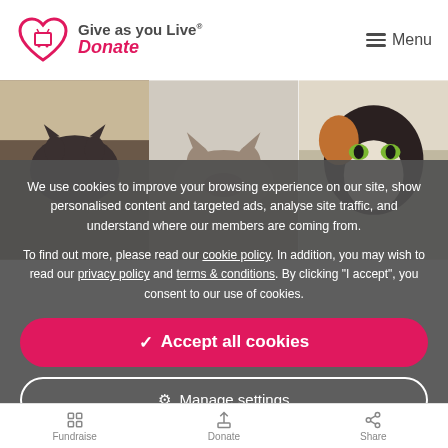Give as you Live Donate — Menu
[Figure (photo): Three cats partially visible, peeking over surfaces, in a photo collage strip]
We use cookies to improve your browsing experience on our site, show personalised content and targeted ads, analyse site traffic, and understand where our members are coming from.
To find out more, please read our cookie policy. In addition, you may wish to read our privacy policy and terms & conditions. By clicking "I accept", you consent to our use of cookies.
✓ Accept all cookies
⚙ Manage settings
Fundraise   Donate   Share